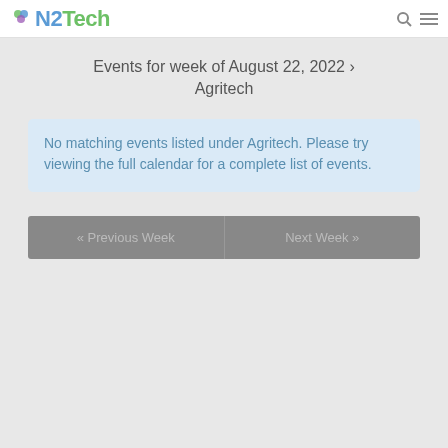NZTech
Events for week of August 22, 2022 › Agritech
No matching events listed under Agritech. Please try viewing the full calendar for a complete list of events.
« Previous Week
Next Week »